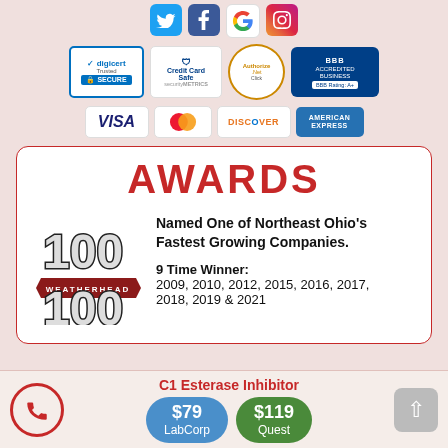[Figure (logo): Social media icons: Twitter, Facebook, Google, Instagram]
[Figure (logo): Trust badges: DigiCert Secure, Credit Card Safe by SecurityMetrics, Authorize.Net, BBB Accredited Business A+]
[Figure (logo): Payment icons: Visa, MasterCard, Discover, American Express]
AWARDS
[Figure (logo): Weatherhead 100 award logo]
Named One of Northeast Ohio's Fastest Growing Companies.
9 Time Winner: 2009, 2010, 2012, 2015, 2016, 2017, 2018, 2019 & 2021
C1 Esterase Inhibitor
$79 LabCorp
$119 Quest